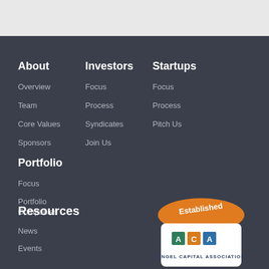About
Overview
Team
Core Values
Sponsors
Investors
Focus
Process
Syndicates
Join Us
Startups
Focus
Process
Pitch Us
Portfolio
Focus
Portfolio Companies
Resources
News
Events
[Figure (logo): ACA Angel Capital Association established badge/seal logo]